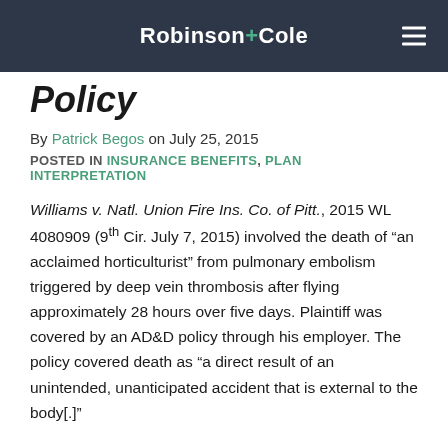Robinson+Cole
Policy
By Patrick Begos on July 25, 2015
POSTED IN INSURANCE BENEFITS, PLAN INTERPRETATION
Williams v. Natl. Union Fire Ins. Co. of Pitt., 2015 WL 4080909 (9th Cir. July 7, 2015) involved the death of “an acclaimed horticulturist” from pulmonary embolism triggered by deep vein thrombosis after flying approximately 28 hours over five days. Plaintiff was covered by an AD&D policy through his employer. The policy covered death as “a direct result of an unintended, unanticipated accident that is external to the body[.]"